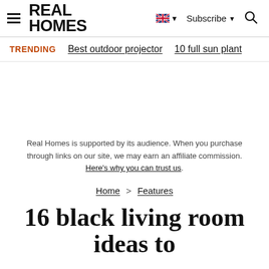REAL HOMES — Subscribe — Search
TRENDING   Best outdoor projector   10 full sun plant
Real Homes is supported by its audience. When you purchase through links on our site, we may earn an affiliate commission. Here's why you can trust us.
Home > Features
16 black living room ideas to